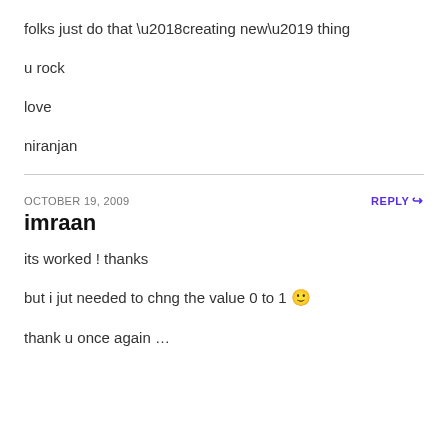folks just do that ‘creating new’ thing
u rock
love
niranjan
OCTOBER 19, 2009
REPLY
imraan
its worked ! thanks
but i jut needed to chng the value 0 to 1 🙂
thank u once again …